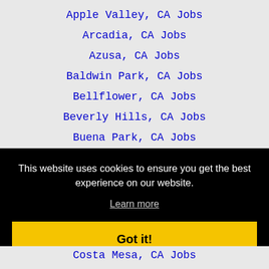Apple Valley, CA Jobs
Arcadia, CA Jobs
Azusa, CA Jobs
Baldwin Park, CA Jobs
Bellflower, CA Jobs
Beverly Hills, CA Jobs
Buena Park, CA Jobs
Burbank, CA Jobs
Camarillo, CA Jobs
Carlsbad, CA Jobs
This website uses cookies to ensure you get the best experience on our website.
Learn more
Got it!
Costa Mesa, CA Jobs